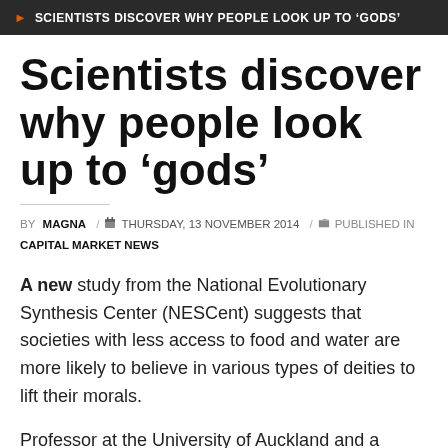SCIENTISTS DISCOVER WHY PEOPLE LOOK UP TO 'GODS'
Scientists discover why people look up to 'gods'
BY MAGNA / THURSDAY, 13 NOVEMBER 2014 / PUBLISHED IN CAPITAL MARKET NEWS
A new study from the National Evolutionary Synthesis Center (NESCent) suggests that societies with less access to food and water are more likely to believe in various types of deities to lift their morals.
Professor at the University of Auckland and a founding director of the Max Planck Institute for History and the Sciences in Jena, Germany Russell Gray, who spoke in this regards said, “When life is tough or when it’s uncertain, people believe in big gods, adding that pro-social behaviour may help people do well in harsh or unpredictable environments.